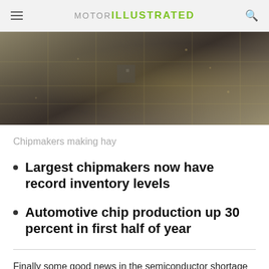MOTOR ILLUSTRATED
[Figure (photo): Close-up photo of a semiconductor/microchip circuit board with metallic surfaces and bright light reflections]
Chipmakers making hay
Largest chipmakers now have record inventory levels
Automotive chip production up 30 percent in first half of year
Finally some good news in the semiconductor shortage that has had a massive impact on almost